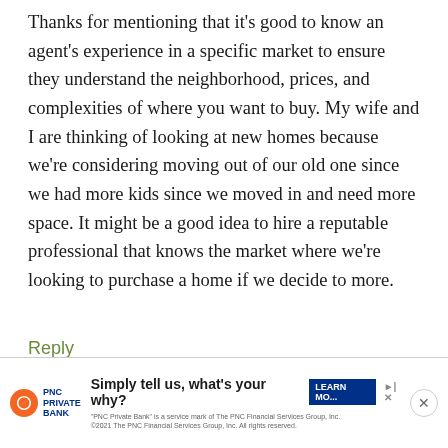Thanks for mentioning that it's good to know an agent's experience in a specific market to ensure they understand the neighborhood, prices, and complexities of where you want to buy. My wife and I are thinking of looking at new homes because we're considering moving out of our old one since we had more kids since we moved in and need more space. It might be a good idea to hire a reputable professional that knows the market where we're looking to purchase a home if we decide to more.
Reply
rache
[Figure (infographic): PNC Private Bank advertisement banner: 'Simply tell us, what's your why?' with LEARN MORE button and PNC Private Bank logo. Disclaimer text: '"PNC Private Bank" is a service mark of The PNC Financial Services Group, Inc. ©2021 The PNC Financial Services Group, Inc. All rights reserved.']